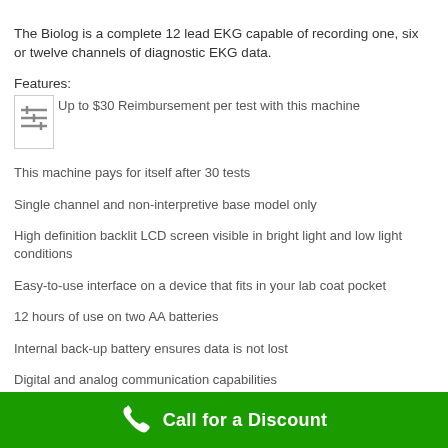The Biolog is a complete 12 lead EKG capable of recording one, six or twelve channels of diagnostic EKG data.
Features:
Up to $30 Reimbursement per test with this machine
This machine pays for itself after 30 tests
Single channel and non-interpretive base model only
High definition backlit LCD screen visible in bright light and low light conditions
Easy-to-use interface on a device that fits in your lab coat pocket
12 hours of use on two AA batteries
Internal back-up battery ensures data is not lost
Digital and analog communication capabilities
Connects to PCs and most printers
Uses the advanced Louvaine Algorithm for an automatic
Call for a Discount